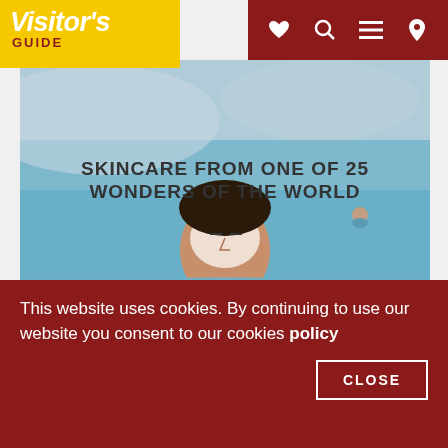Visitor's GUIDE
[Figure (photo): Blue Lagoon Iceland advertisement: person floating in blue geothermal water with face mask, text reads 'SKINCARE FROM ONE OF 25 WONDERS OF THE WORLD', 'BLUE LAGOON ICELAND', locations listed below]
[Figure (photo): Partial second advertisement image showing light blue water/lagoon scene]
This website uses cookies. By continuing to use our website you consent to our cookies policy
CLOSE